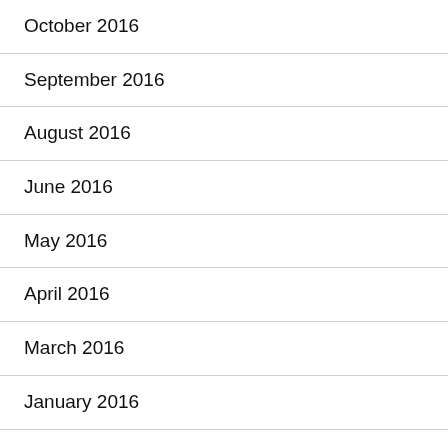October 2016
September 2016
August 2016
June 2016
May 2016
April 2016
March 2016
January 2016